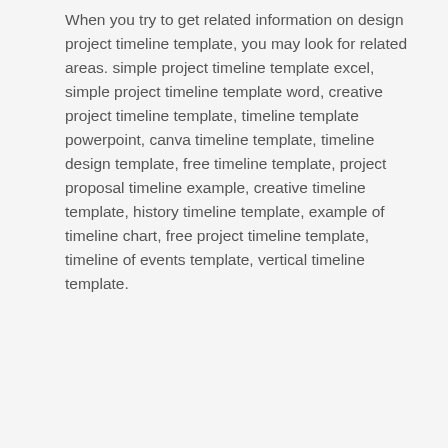When you try to get related information on design project timeline template, you may look for related areas. simple project timeline template excel, simple project timeline template word, creative project timeline template, timeline template powerpoint, canva timeline template, timeline design template, free timeline template, project proposal timeline example, creative timeline template, history timeline template, example of timeline chart, free project timeline template, timeline of events template, vertical timeline template.